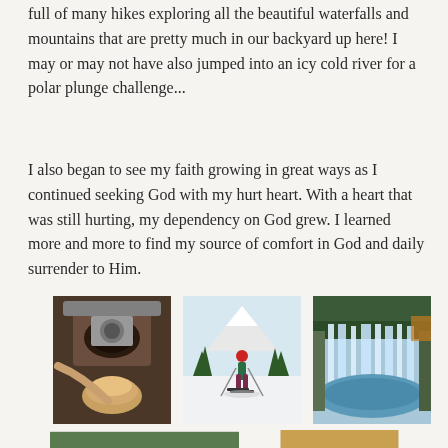full of many hikes exploring all the beautiful waterfalls and mountains that are pretty much in our backyard up here! I may or may not have also jumped into an icy cold river for a polar plunge challenge...
I also began to see my faith growing in great ways as I continued seeking God with my hurt heart. With a heart that was still hurting, my dependency on God grew. I learned more and more to find my source of comfort in God and daily surrender to Him.
[Figure (photo): Three photos in a row: left shows a person making espresso/coffee with a machine and cup in foreground; middle shows a person in a red hat and green jacket cross-country skiing in a snowy mountain landscape with snow-capped peak behind; right shows a wide waterfall cascading over mossy green rocks into a blue-green pool.]
[Figure (photo): Bottom partial row of photos: left shows a forest/trees scene; right shows what appears to be a latte art or coffee drink from above.]